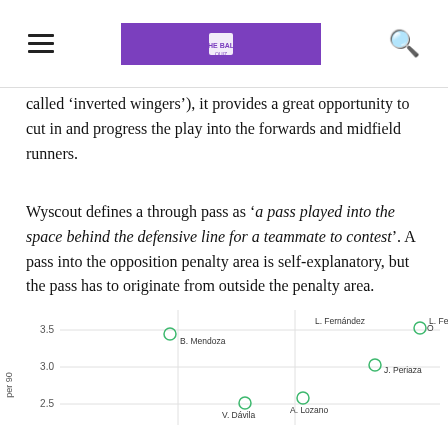[hamburger menu] [logo: The Ball Quiz] [search icon]
called 'inverted wingers'), it provides a great opportunity to cut in and progress the play into the forwards and midfield runners.
Wyscout defines a through pass as 'a pass played into the space behind the defensive line for a teammate to contest'. A pass into the opposition penalty area is self-explanatory, but the pass has to originate from outside the penalty area.
[Figure (scatter-plot): Scatter plot showing player positions. Points labeled: L. Fernández (top right), B. Mendoza (upper left area), J. Periaza (mid right), V. Dávila (lower middle), A. Lozano (lower middle-right). Y-axis labels: 3.5, 3.0, 2.5. Points are open circles in green.]